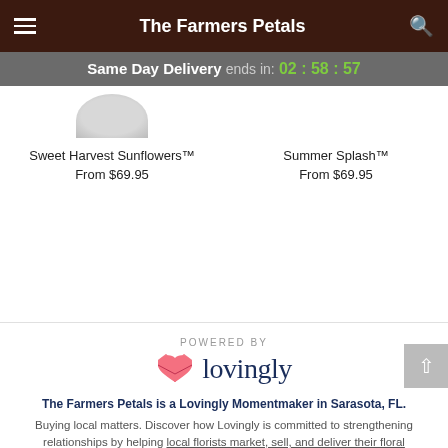The Farmers Petals
Same Day Delivery ends in: 02 : 58 : 57
Sweet Harvest Sunflowers™
From $69.95
Summer Splash™
From $69.95
POWERED BY
[Figure (logo): Lovingly logo with pink heart/envelope icon and dark navy text 'lovingly']
The Farmers Petals is a Lovingly Momentmaker in Sarasota, FL.
Buying local matters. Discover how Lovingly is committed to strengthening relationships by helping local florists market, sell, and deliver their floral